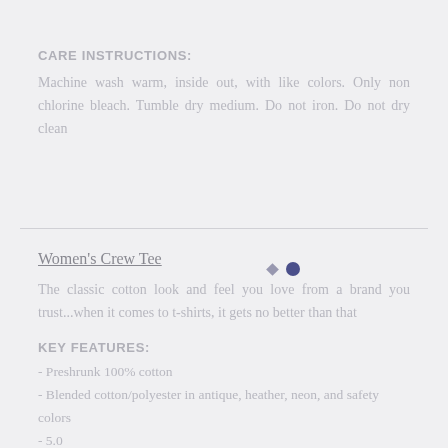CARE INSTRUCTIONS:
Machine wash warm, inside out, with like colors. Only non chlorine bleach. Tumble dry medium. Do not iron. Do not dry clean
Women's Crew Tee
The classic cotton look and feel you love from a brand you trust...when it comes to t-shirts, it gets no better than that
KEY FEATURES:
- Preshrunk 100% cotton
- Blended cotton/polyester in antique, heather, neon, and safety colors
- 5.0